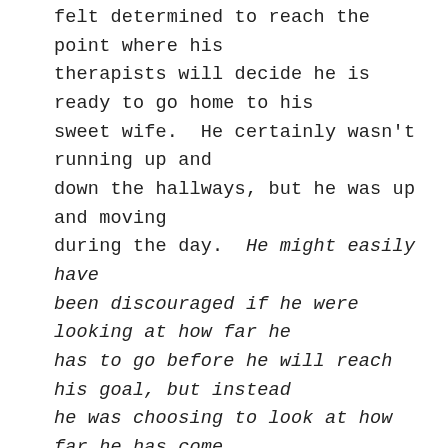felt determined to reach the point where his therapists will decide he is ready to go home to his sweet wife.  He certainly wasn't running up and down the hallways, but he was up and moving during the day.  He might easily have been discouraged if he were looking at how far he has to go before he will reach his goal, but instead he was choosing to look at how far he has come.

Maybe this is a key to living the Christian life with a sense of joy and victory instead of dread and defeat.  Maybe instead of dwelling on how far from perfect we are, we should take a look at how far we've come in the past year.  Maybe we should focus on how much our attitude has improved, or how God has worked to answer of victories that...